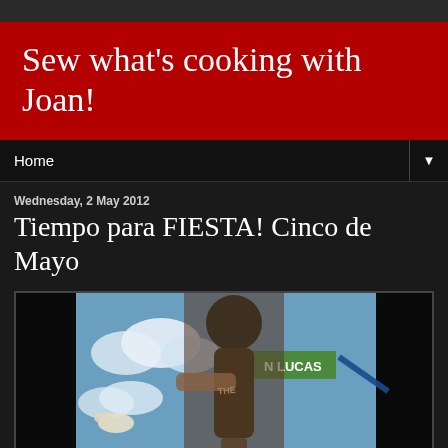Sew what's cooking with Joan!
Home
Wednesday, 2 May 2012
Tiempo para FIESTA! Cinco de Mayo
[Figure (photo): Photo of a person holding a large bottle/trophy artifact with a painted mural background showing sky and clouds, a sign reading 'N LUCAS' visible in the background]